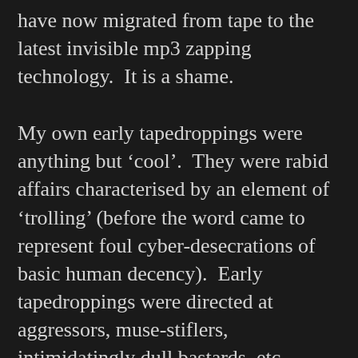have now migrated from tape to the latest invisible mp3 zapping technology.  It is a shame.
My own early tapedroppings were anything but ‘cool’.  They were rabid affairs characterised by an element of ‘trolling’ (before the word came to represent foul cyber-desecrations of basic human decency).  Early tapedroppings were directed at aggressors, muse-stiflers, intimidatingly dull bastards, etc.  Often, the tapes smacked of puritanical fanaticism and stoic exhortation against the utterly arrogant sexual mores of tacky, brutish schoolboys.